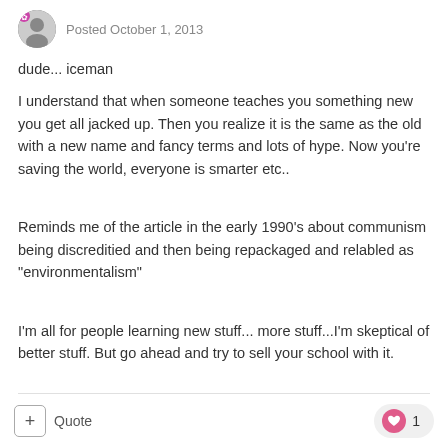Posted October 1, 2013
dude... iceman
I understand that when someone teaches you something new you get all jacked up. Then you realize it is the same as the old with a new name and fancy terms and lots of hype. Now you're saving the world, everyone is smarter etc..
Reminds me of the article in the early 1990's about communism being discreditied and then being repackaged and relabled as "environmentalism"
I'm all for people learning new stuff... more stuff...I'm skeptical of better stuff. But go ahead and try to sell your school with it.